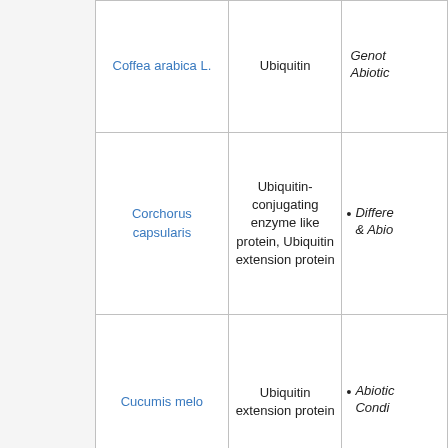| Species | Protein | Condition |
| --- | --- | --- |
| Coffea arabica L. | Ubiquitin | Genotype & Abiotic... |
| Corchorus capsularis | Ubiquitin-conjugating enzyme like protein, Ubiquitin extension protein | Different... & Abiotic... |
| Cucumis melo | Ubiquitin extension protein | Abiotic... Condi... |